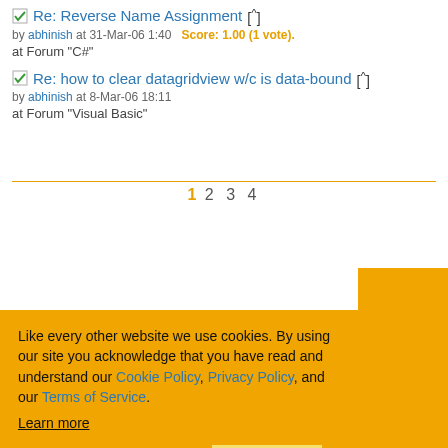Re: Reverse Name Assignment [^] by abhinish at 31-Mar-06 1:40 Score: 1.00 (1 vote). at Forum "C#"
Re: how to clear datagridview w/c is data-bound [^] by abhinish at 8-Mar-06 18:11 at Forum "Visual Basic"
1 2 3 4
Like every other website we use cookies. By using our site you acknowledge that you have read and understand our Cookie Policy, Privacy Policy, and our Terms of Service. Learn more
Ask me later  Decline  Allow cookies
Copyright © CodeProject, 1999-2022 All Rights Reserved. Terms of Use